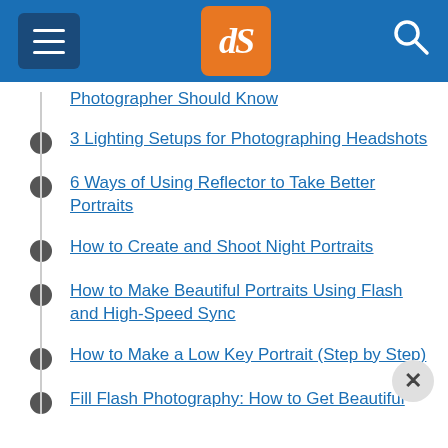[Figure (screenshot): Website header bar with hamburger menu, dPS logo in orange square, and search icon on blue background]
Photographer Should Know
3 Lighting Setups for Photographing Headshots
6 Ways of Using Reflector to Take Better Portraits
How to Create and Shoot Night Portraits
How to Make Beautiful Portraits Using Flash and High-Speed Sync
How to Make a Low Key Portrait (Step by Step)
Fill Flash Photography: How to Get Beautiful